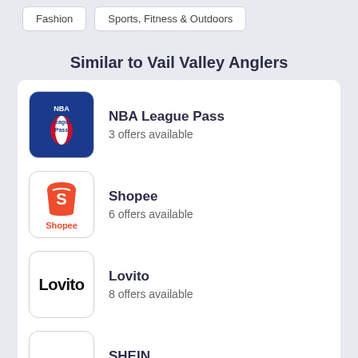Fashion
Sports, Fitness & Outdoors
Similar to Vail Valley Anglers
NBA League Pass — 3 offers available
Shopee — 6 offers available
Lovito — 8 offers available
SHEIN — 8 offers available